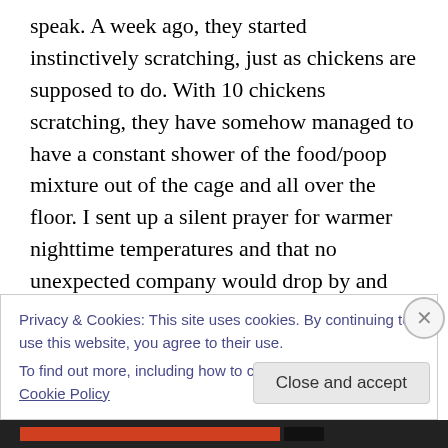speak. A week ago, they started instinctively scratching, just as chickens are supposed to do. With 10 chickens scratching, they have somehow managed to have a constant shower of the food/poop mixture out of the cage and all over the floor. I sent up a silent prayer for warmer nighttime temperatures and that no unexpected company would drop by and notice how we really live. Only half of my prayer was answered, as a friend offered to drop off some fresh-caught walleye fillets. I don't know anyone in this world who would turn down fresh-caught walleye fillets, even if they have to swallow their pride and bribe
Privacy & Cookies: This site uses cookies. By continuing to use this website, you agree to their use.
To find out more, including how to control cookies, see here: Cookie Policy